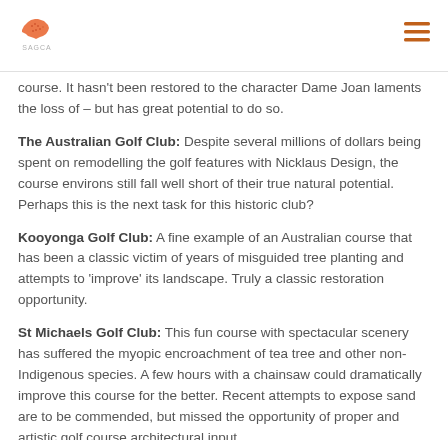SAGCA
course. It hasn't been restored to the character Dame Joan laments the loss of – but has great potential to do so.
The Australian Golf Club: Despite several millions of dollars being spent on remodelling the golf features with Nicklaus Design, the course environs still fall well short of their true natural potential. Perhaps this is the next task for this historic club?
Kooyonga Golf Club: A fine example of an Australian course that has been a classic victim of years of misguided tree planting and attempts to 'improve' its landscape. Truly a classic restoration opportunity.
St Michaels Golf Club: This fun course with spectacular scenery has suffered the myopic encroachment of tea tree and other non-Indigenous species. A few hours with a chainsaw could dramatically improve this course for the better. Recent attempts to expose sand are to be commended, but missed the opportunity of proper and artistic golf course architectural input.